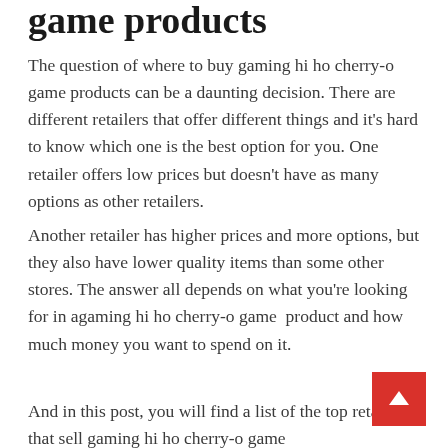game products
The question of where to buy gaming hi ho cherry-o game products can be a daunting decision. There are different retailers that offer different things and it’s hard to know which one is the best option for you. One retailer offers low prices but doesn’t have as many options as other retailers.
Another retailer has higher prices and more options, but they also have lower quality items than some other stores. The answer all depends on what you’re looking for in agaming hi ho cherry-o game  product and how much money you want to spend on it.
And in this post, you will find a list of the top retailers that sell gaming hi ho cherry-o game